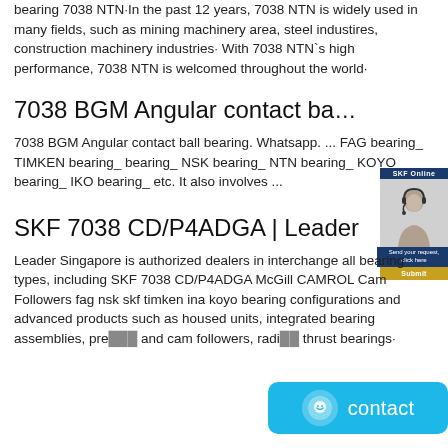bearing 7038 NTN·In the past 12 years, 7038 NTN is widely used in many fields, such as mining machinery area, steel industires, construction machinery industries· With 7038 NTN`s high performance, 7038 NTN is welcomed throughout the world·
7038 BGM Angular contact ba...
7038 BGM Angular contact ball bearing. Whatsapp. ... FAG bearing_ TIMKEN bearing_ bearing_ NSK bearing_ NTN bearing_ KOYO bearing_ IKO bearing_ etc. It also involves ...
SKF 7038 CD/P4ADGA | Leader
Leader Singapore is authorized dealers in interchange all bearing types, including SKF 7038 CD/P4ADGA McGill CAMROL Cam Followers fag nsk skf timken ina koyo bearing configurations and advanced products such as housed units, integrated bearing assemblies, pre... and cam followers, radi... thrust bearings·
[Figure (other): SKF customer service widget with a woman on the phone, blue header bar, blue text panel, and gold Submit button]